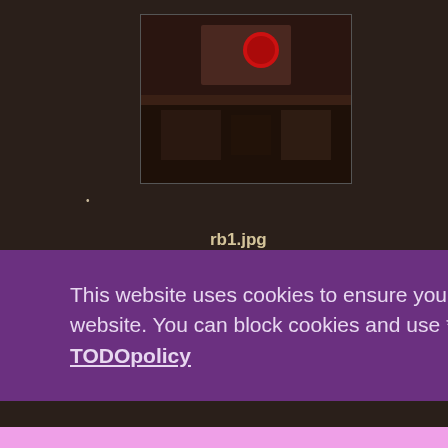[Figure (screenshot): Small dark thumbnail image of a scene with a red circular element, appears to be a video game screenshot]
•
rb1.jpg
1280×1024
2012/06/01 17:16
161.6 KB
[Figure (screenshot): Small dark thumbnail image, very dark scene with minimal detail visible]
This website uses cookies to ensure you get the best experience on our website. You can block cookies and use *most* of the site just fine.  TODOpolicy
Got it!